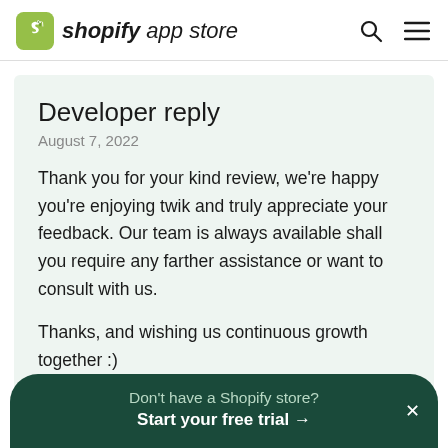shopify app store
Developer reply
August 7, 2022
Thank you for your kind review, we're happy you're enjoying twik and truly appreciate your feedback. Our team is always available shall you require any farther assistance or want to consult with us.

Thanks, and wishing us continuous growth together :)
Don't have a Shopify store? Start your free trial →